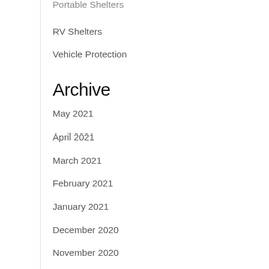Portable Shelters
RV Shelters
Vehicle Protection
Archive
May 2021
April 2021
March 2021
February 2021
January 2021
December 2020
November 2020
October 2020
September 2020
August 2020
July 2020